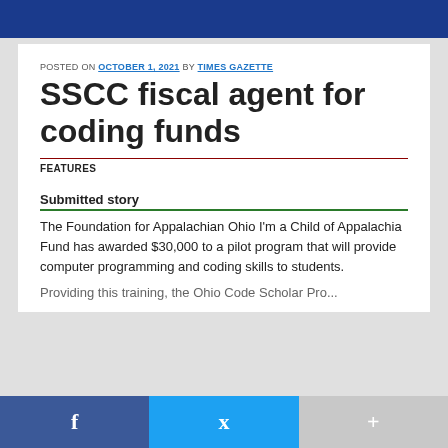POSTED ON OCTOBER 1, 2021 BY TIMES GAZETTE
SSCC fiscal agent for coding funds
FEATURES
Submitted story
The Foundation for Appalachian Ohio I'm a Child of Appalachia Fund has awarded $30,000 to a pilot program that will provide computer programming and coding skills to students.
f  Twitter  +